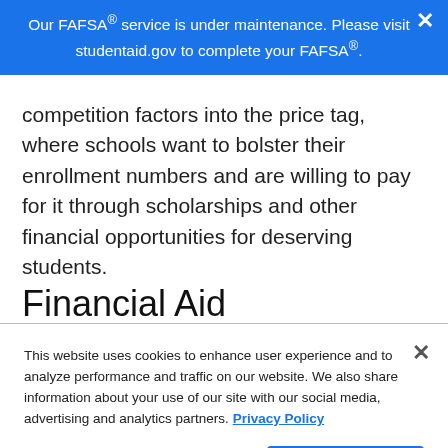Our FAFSA® service is under maintenance. Please visit studentaid.gov to complete your FAFSA®.
competition factors into the price tag, where schools want to bolster their enrollment numbers and are willing to pay for it through scholarships and other financial opportunities for deserving students.
Financial Aid
This website uses cookies to enhance user experience and to analyze performance and traffic on our website. We also share information about your use of our site with our social media, advertising and analytics partners. Privacy Policy